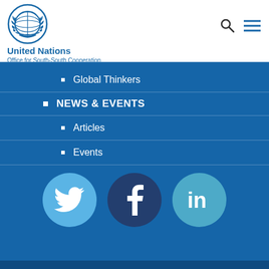[Figure (logo): United Nations emblem/globe logo in blue]
United Nations
Office for South-South Cooperation
Global Thinkers
NEWS & EVENTS
Articles
Events
[Figure (infographic): Three social media icons: Twitter (light blue circle), Facebook (dark navy circle), LinkedIn (teal circle)]